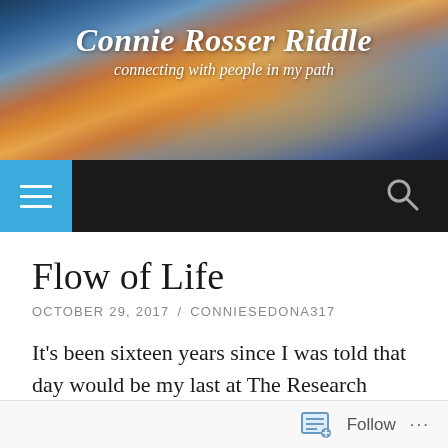Connie Rosser Riddle — connecting with people in my path
Flow of Life
OCTOBER 29, 2017 / CONNIESEDONA317
It's been sixteen years since I was told that day would be my last at The Research Company. Devastated, angry, and relieved to be free of them, I stepped forward onto an uncertain
Follow ...